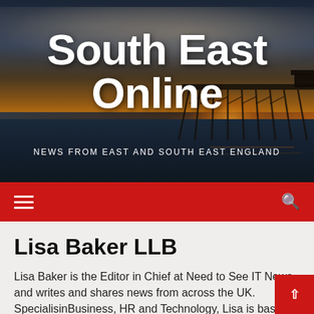[Figure (photo): Hero banner showing a pier at sunset with dramatic sky and clouds, dark water in foreground]
South East Online
NEWS FROM EAST AND SOUTH EAST ENGLAND
Navigation bar with hamburger menu and search icon
Lisa Baker LLB
Lisa Baker is the Editor in Chief at Need to See IT News and writes and shares news from across the UK. Specialising in Business, HR and Technology, Lisa is based in South Wales.